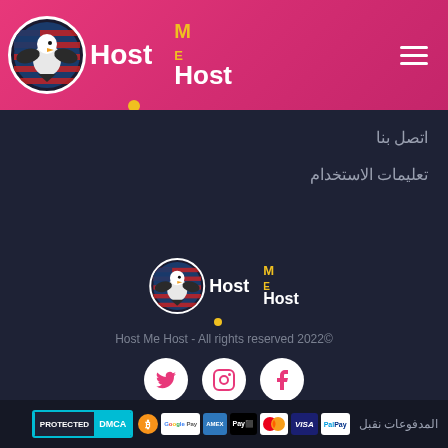[Figure (logo): Host Me Host website header with eagle logo, pink/magenta gradient background, hamburger menu icon]
اتصل بنا
تعليمات الاستخدام
[Figure (logo): Host Me Host center logo with eagle circle and ME Host text]
Host Me Host - All rights reserved 2022©
[Figure (infographic): Social media icons: Twitter, Instagram, Facebook - white circles on dark background]
المدفوعات نقبل DMCA PROTECTED [payment icons: Bitcoin, Google Pay, Amex, Apple Pay, Mastercard, Visa, PayPal]